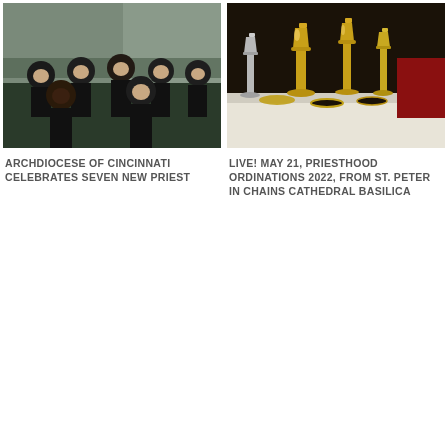[Figure (photo): Group photo of seven men in black clerical attire standing together outdoors in front of a building]
ARCHDIOCESE OF CINCINNATI CELEBRATES SEVEN NEW PRIEST
[Figure (photo): Close-up photo of golden chalices and communion plates arranged on a table with a white cloth]
LIVE! MAY 21, PRIESTHOOD ORDINATIONS 2022, FROM ST. PETER IN CHAINS CATHEDRAL BASILICA